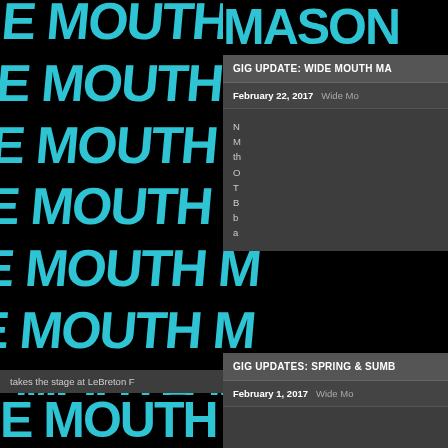[Figure (illustration): Black background with repeated 'WIDE MOUTH MASON' text in cyan/teal graffiti-style lettering tiled across the left portion of the page and visible behind overlay panels]
GIG UPDATE: WIDE MOUTH MA...
February 22, 2017   Wide Mo...
N
M
th
O
T
B
b
a
takes the stage at LeBreton F...
GIG UPDATES: SPRING & SUMB...
February 1, 2017   Wide Mo...